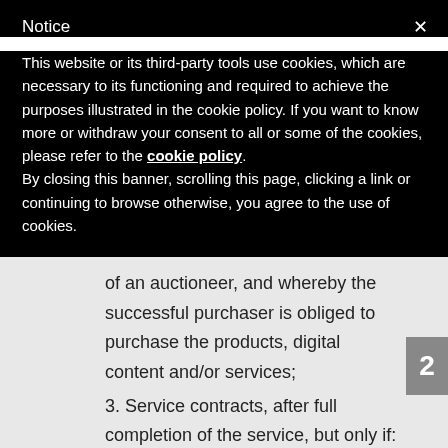Notice
This website or its third-party tools use cookies, which are necessary to its functioning and required to achieve the purposes illustrated in the cookie policy. If you want to know more or withdraw your consent to all or some of the cookies, please refer to the cookie policy.
By closing this banner, scrolling this page, clicking a link or continuing to browse otherwise, you agree to the use of cookies.
of an auctioneer, and whereby the successful purchaser is obliged to purchase the products, digital content and/or services;
3. Service contracts, after full completion of the service, but only if:
implementation started with the explicit prior agreement of the consumer; and
the consumer declared having lost his right or withdrawal as soon as the trader had completed